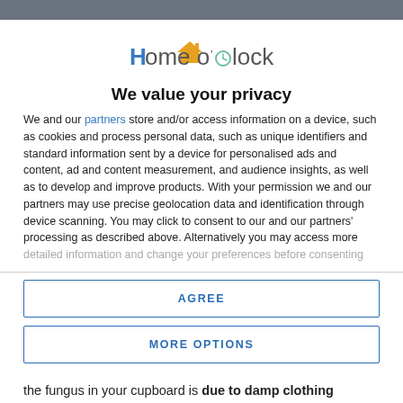[Figure (logo): Home o'Clock logo with orange house icon and teal/gray text]
We value your privacy
We and our partners store and/or access information on a device, such as cookies and process personal data, such as unique identifiers and standard information sent by a device for personalised ads and content, ad and content measurement, and audience insights, as well as to develop and improve products. With your permission we and our partners may use precise geolocation data and identification through device scanning. You may click to consent to our and our partners' processing as described above. Alternatively you may access more detailed information and change your preferences before consenting
AGREE
MORE OPTIONS
the fungus in your cupboard is due to damp clothing